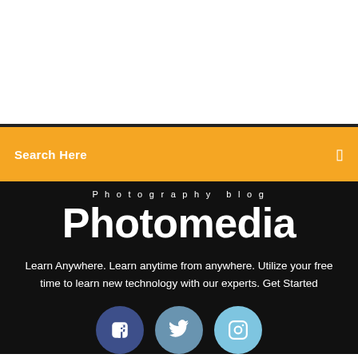[Figure (screenshot): White blank area at top of page]
Search Here
Photography blog
Photomedia
Learn Anywhere. Learn anytime from anywhere. Utilize your free time to learn new technology with our experts. Get Started
[Figure (other): Social media icons: Facebook, Twitter, Instagram]